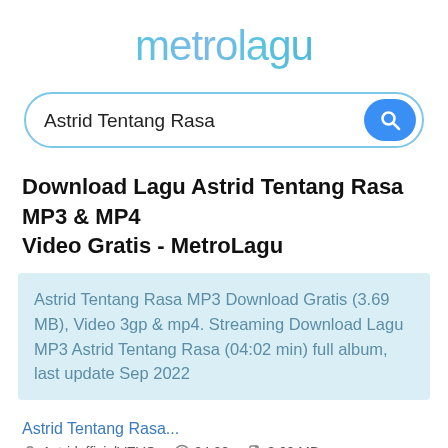metrolagu
Astrid Tentang Rasa
Download Lagu Astrid Tentang Rasa MP3 & MP4 Video Gratis - MetroLagu
Astrid Tentang Rasa MP3 Download Gratis (3.69 MB), Video 3gp & mp4. Streaming Download Lagu MP3 Astrid Tentang Rasa (04:02 min) full album, last update Sep 2022
Astrid Tentang Rasa...
AstridofficialVEVO   04:02   3.69 MB
Play   Download